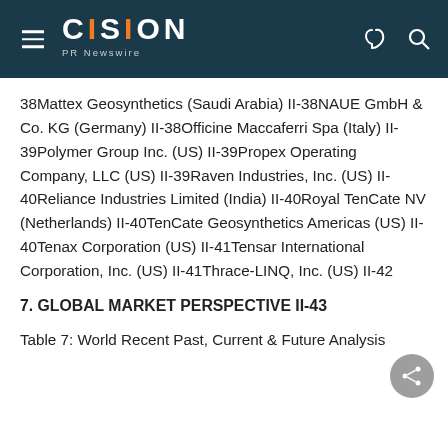CISION PR Newswire
38Mattex Geosynthetics (Saudi Arabia) II-38NAUE GmbH & Co. KG (Germany) II-38Officine Maccaferri Spa (Italy) II-39Polymer Group Inc. (US) II-39Propex Operating Company, LLC (US) II-39Raven Industries, Inc. (US) II-40Reliance Industries Limited (India) II-40Royal TenCate NV (Netherlands) II-40TenCate Geosynthetics Americas (US) II-40Tenax Corporation (US) II-41Tensar International Corporation, Inc. (US) II-41Thrace-LINQ, Inc. (US) II-42
7. GLOBAL MARKET PERSPECTIVE II-43
Table 7: World Recent Past, Current & Future Analysis